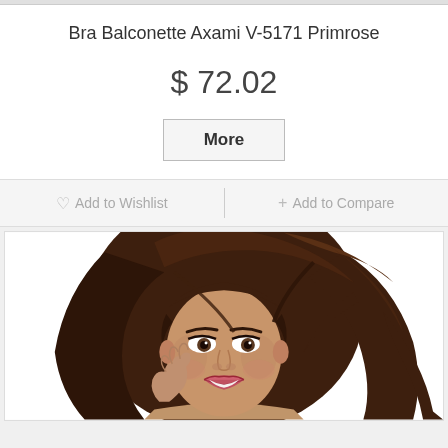Bra Balconette Axami V-5171 Primrose
$ 72.02
More
♡ Add to Wishlist
+ Add to Compare
[Figure (photo): A woman with long, flowing dark brown hair smiling at the camera, wearing lingerie (bra), photographed against a white background in a fashion/product style.]